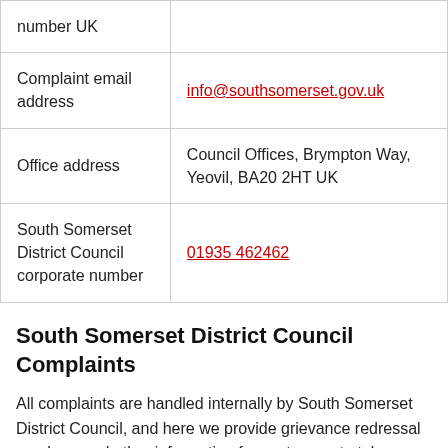| number UK |  |
| Complaint email address | info@southsomerset.gov.uk |
| Office address | Council Offices, Brympton Way, Yeovil, BA20 2HT UK |
| South Somerset District Council corporate number | 01935 462462 |
South Somerset District Council Complaints
All complaints are handled internally by South Somerset District Council, and here we provide grievance redressal numbers and other information for customers to take...